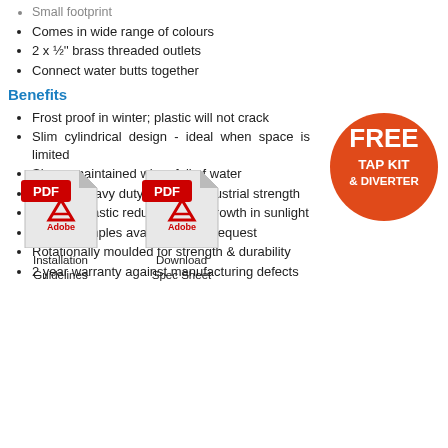Small footprint
Comes in wide range of colours
2 x ½" brass threaded outlets
Connect water butts together
Benefits
Frost proof in winter; plastic will not crack
Slim cylindrical design - ideal when space is limited
Shape maintained when full of water
Robust, heavy duty product; industrial strength
Opaque plastic reduces algae growth in sunlight
Colour samples available upon request
Rotationally moulded for strength & durability
2 year warranty against manufacturing defects
[Figure (infographic): Orange circular badge with white text reading FREE TAP KIT & DIVERTER]
[Figure (other): PDF icon for Installation Guidelines]
Installation Guidelines
[Figure (other): PDF icon for Download Spec Sheet]
Download Spec Sheet